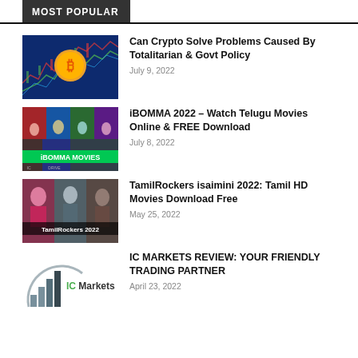MOST POPULAR
Can Crypto Solve Problems Caused By Totalitarian & Govt Policy
July 9, 2022
iBOMMA 2022 – Watch Telugu Movies Online & FREE Download
July 8, 2022
TamilRockers isaimini 2022: Tamil HD Movies Download Free
May 25, 2022
IC MARKETS REVIEW: YOUR FRIENDLY TRADING PARTNER
April 23, 2022